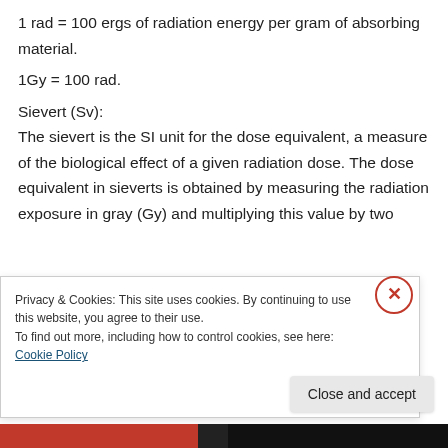1 rad = 100 ergs of radiation energy per gram of absorbing material.
1Gy = 100 rad.
Sievert (Sv):
The sievert is the SI unit for the dose equivalent, a measure of the biological effect of a given radiation dose. The dose equivalent in sieverts is obtained by measuring the radiation exposure in gray (Gy) and multiplying this value by two
Privacy & Cookies: This site uses cookies. By continuing to use this website, you agree to their use.
To find out more, including how to control cookies, see here: Cookie Policy